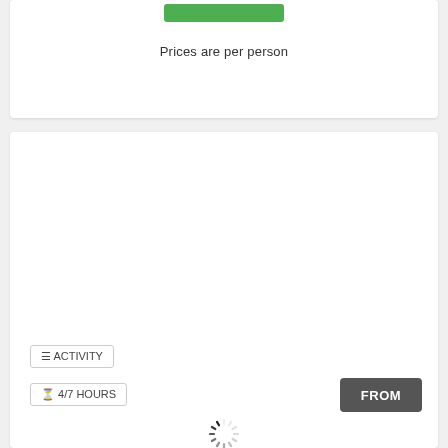[Figure (other): Green button/bar at top of card]
Prices are per person
[Figure (other): Loading spinner (circular progress indicator) centered in card]
≡ ACTIVITY
⏱ 4/7 HOURS
FROM